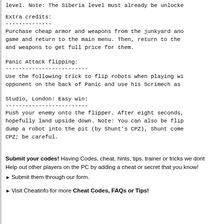level. Note: The Siberia level must already be unlocked
Extra credits:
--------------
Purchase cheap armor and weapons from the junkyard and game and return to the main menu. Then, return to the and weapons to get full price for them.
Panic Attack flipping:
-------------------------
Use the following trick to flip robots when playing wi opponent on the back of Panic and use his Scrimech as
Studio, London: Easy win:
-------------------------
Push your enemy onto the flipper. After eight seconds, hopefully land upside down. Note: You can also be flip dump a robot into the pit (by Shunt's CPZ), Shunt come CPZ; be careful.
Submit your codes! Having Codes, cheat, hints, tips, trainer or tricks we dont Help out other players on the PC by adding a cheat or secret that you know!
Submit them through our form.
Visit Cheatinfo for more Cheat Codes, FAQs or Tips!